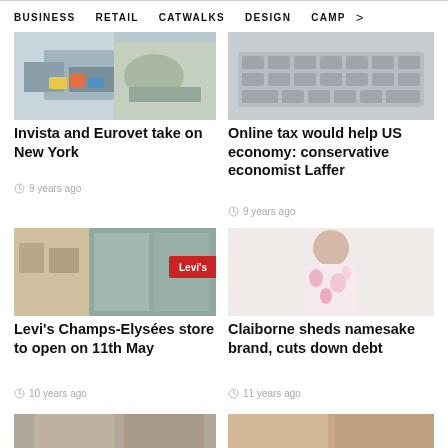BUSINESS   RETAIL   CATWALKS   DESIGN   CAMP >
[Figure (photo): People gathered around a table with colorful materials/papers]
[Figure (photo): Close-up of a laptop keyboard]
Invista and Eurovet take on New York
9 years ago
Online tax would help US economy: conservative economist Laffer
9 years ago
[Figure (photo): Levi's store front with red Levi's sign visible through glass]
[Figure (photo): Fashion model wearing floral/pink patterned outfit on white background]
Levi's Champs-Elysées store to open on 11th May
10 years ago
Claiborne sheds namesake brand, cuts down debt
11 years ago
[Figure (photo): Partial bottom strip image left]
[Figure (photo): Partial bottom strip image right]